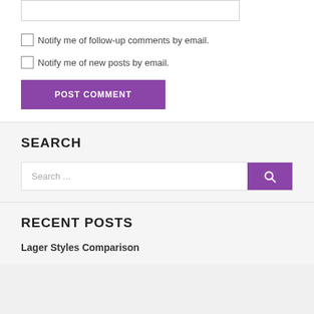[Figure (screenshot): Textarea input box (partial, top of page)]
Notify me of follow-up comments by email.
Notify me of new posts by email.
POST COMMENT
SEARCH
Search ...
RECENT POSTS
Lager Styles Comparison